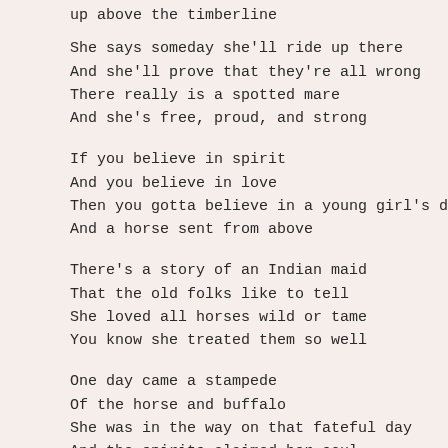up above the timberline
She says someday she'll ride up there
And she'll prove that they're all wrong
There really is a spotted mare
And she's free, proud, and strong
If you believe in spirit
And you believe in love
Then you gotta believe in a young girl's dreams
And a horse sent from above
There's a story of an Indian maid
That the old folks like to tell
She loved all horses wild or tame
You know she treated them so well
One day came a stampede
Of the horse and buffalo
She was in the way on that fateful day
And the spirits claimed her soul